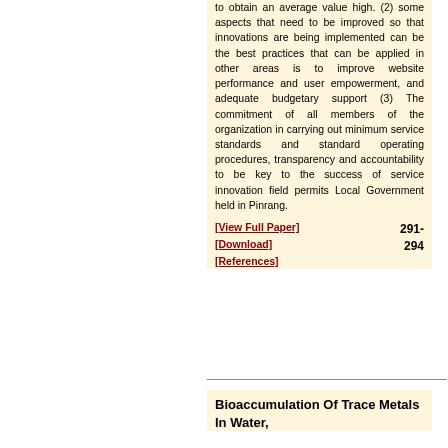to obtain an average value high. (2) some aspects that need to be improved so that innovations are being implemented can be the best practices that can be applied in other areas is to improve website performance and user empowerment, and adequate budgetary support (3) The commitment of all members of the organization in carrying out minimum service standards and standard operating procedures, transparency and accountability to be key to the success of service innovation field permits Local Government held in Pinrang.
[View Full Paper] [Download] [References] 291-294
Bioaccumulation Of Trace Metals In Water,